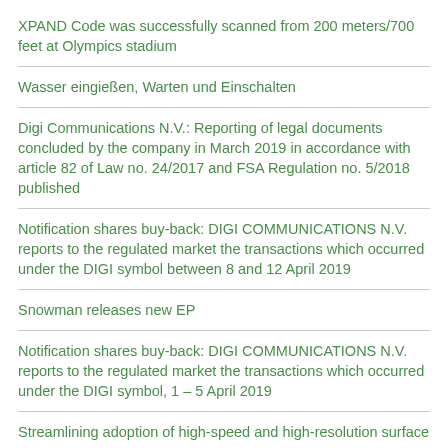XPAND Code was successfully scanned from 200 meters/700 feet at Olympics stadium
Wasser eingießen, Warten und Einschalten
Digi Communications N.V.: Reporting of legal documents concluded by the company in March 2019 in accordance with article 82 of Law no. 24/2017 and FSA Regulation no. 5/2018 published
Notification shares buy-back: DIGI COMMUNICATIONS N.V. reports to the regulated market the transactions which occurred under the DIGI symbol between 8 and 12 April 2019
Snowman releases new EP
Notification shares buy-back: DIGI COMMUNICATIONS N.V. reports to the regulated market the transactions which occurred under the DIGI symbol, 1 – 5 April 2019
Streamlining adoption of high-speed and high-resolution surface